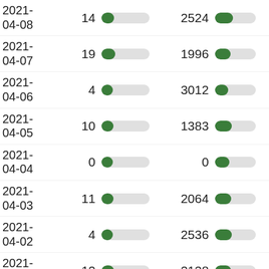| Date | Count1 | Bar1 | Count2 | Bar2 |
| --- | --- | --- | --- | --- |
| 2021-04-08 | 14 |  | 2524 |  |
| 2021-04-07 | 19 |  | 1996 |  |
| 2021-04-06 | 4 |  | 3012 |  |
| 2021-04-05 | 10 |  | 1383 |  |
| 2021-04-04 | 0 |  | 0 |  |
| 2021-04-03 | 11 |  | 2064 |  |
| 2021-04-02 | 4 |  | 2536 |  |
| 2021-04-01 | 12 |  | 2138 |  |
| 2021- | 12 |  | 1648 |  |